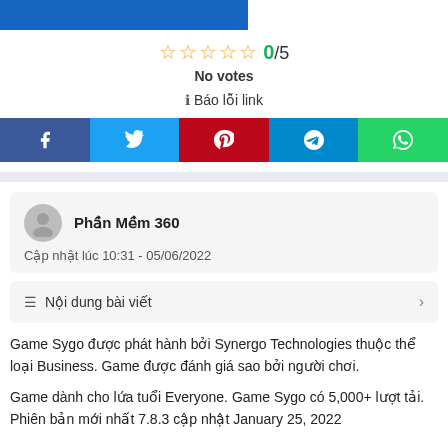[Figure (other): Blue banner image at top]
☆☆☆☆☆ 0/5
No votes
ℹ Báo lỗi link
[Figure (other): Social share buttons: Facebook, Twitter, Pinterest, Telegram, WhatsApp]
Phần Mềm 360
Cập nhật lúc 10:31 - 05/06/2022
≡ Nội dung bài viết
Game Sygo được phát hành bởi Synergo Technologies thuộc thể loại Business. Game được đánh giá sao bởi người chơi.
Game dành cho lứa tuổi Everyone. Game Sygo có 5,000+ lượt tải. Phiên bản mới nhất 7.8.3 cập nhật January 25, 2022.